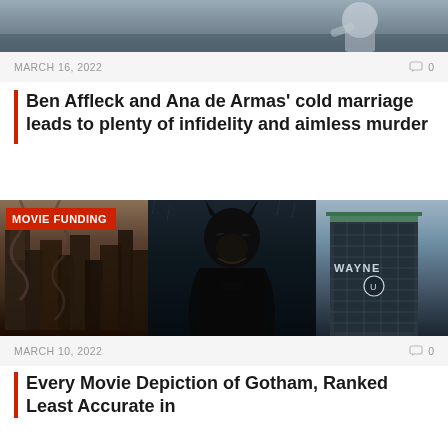[Figure (photo): Movie still from Deep Water showing person in background]
MARCH 16, 2022   💬 0
Ben Affleck and Ana de Armas' cold marriage leads to plenty of infidelity and aimless murder
Deep Water movie review rating: Featured cast: Ben Affleck, Ana de Armas, Jacob Elordi and…
[Figure (photo): Composite image with MOVIE FUNDING badge: left panel shows dark Gotham city scene, center panel shows Batman (Robert Pattinson) in costume, right panel shows Wayne Enterprises building]
MARCH 10, 2022   💬 0
Every Movie Depiction of Gotham, Ranked Least Accurate in